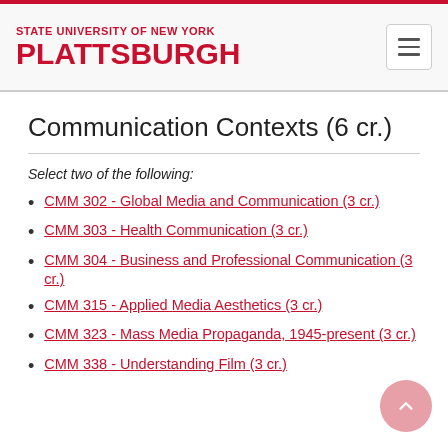STATE UNIVERSITY OF NEW YORK PLATTSBURGH
Communication Contexts (6 cr.)
Select two of the following:
CMM 302 - Global Media and Communication (3 cr.)
CMM 303 - Health Communication (3 cr.)
CMM 304 - Business and Professional Communication (3 cr.)
CMM 315 - Applied Media Aesthetics (3 cr.)
CMM 323 - Mass Media Propaganda, 1945-present (3 cr.)
CMM 338 - Understanding Film (3 cr.)